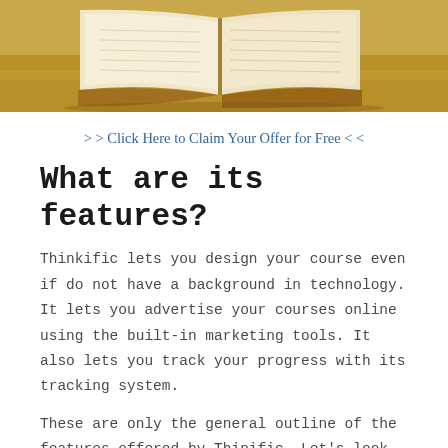[Figure (photo): Open book on a wooden surface, viewed from above, warm tones]
> > Click Here to Claim Your Offer for Free < <
What are its features?
Thinkific lets you design your course even if do not have a background in technology. It lets you advertise your courses online using the built-in marketing tools. It also lets you track your progress with its tracking system.
These are only the general outline of the features offered by Thinific. Let's look in depth at each.
Website Builder
Before you can start offering your courses, you'll have to develop